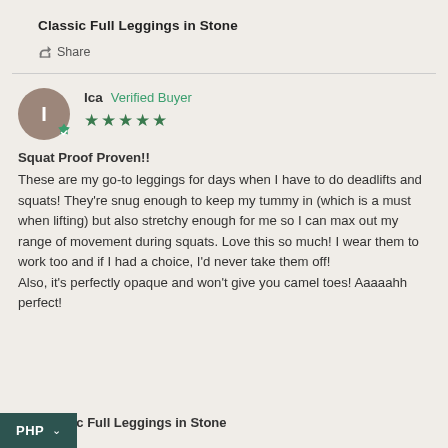Classic Full Leggings in Stone
Share
Ica  Verified Buyer
★★★★★
Squat Proof Proven!!
These are my go-to leggings for days when I have to do deadlifts and squats! They're snug enough to keep my tummy in (which is a must when lifting) but also stretchy enough for me so I can max out my range of movement during squats. Love this so much! I wear them to work too and if I had a choice, I'd never take them off!
Also, it's perfectly opaque and won't give you camel toes! Aaaaahh perfect!
Classic Full Leggings in Stone